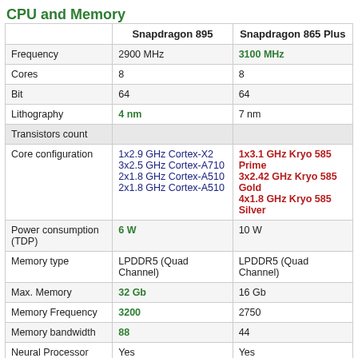CPU and Memory
|  | Snapdragon 895 | Snapdragon 865 Plus |
| --- | --- | --- |
| Frequency | 2900 MHz | 3100 MHz |
| Cores | 8 | 8 |
| Bit | 64 | 64 |
| Lithography | 4 nm | 7 nm |
| Transistors count |  |  |
| Core configuration | 1x2.9 GHz Cortex-X2
3x2.5 GHz Cortex-A710
2x1.8 GHz Cortex-A510
2x1.8 GHz Cortex-A510 | 1x3.1 GHz Kryo 585 Prime
3x2.42 GHz Kryo 585 Gold
4x1.8 GHz Kryo 585 Silver |
| Power consumption (TDP) | 6 W | 10 W |
| Memory type | LPDDR5 (Quad Channel) | LPDDR5 (Quad Channel) |
| Max. Memory | 32 Gb | 16 Gb |
| Memory Frequency | 3200 | 2750 |
| Memory bandwidth | 88 | 44 |
| Neural Processor (NPU) | Yes | Yes |
| L1 cache | 1 MB | 512 KB |